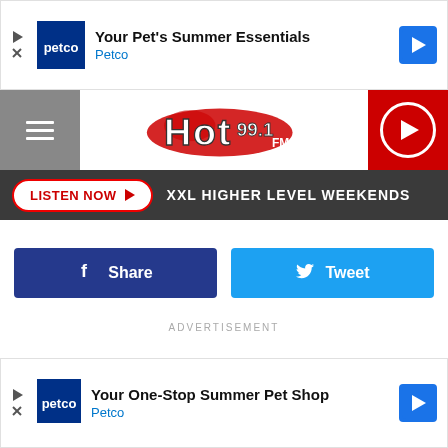[Figure (screenshot): Petco ad banner top: 'Your Pet's Summer Essentials' with Petco logo and blue arrow icon]
[Figure (logo): Hot 99.1 FM radio station logo with hamburger menu and play button]
LISTEN NOW ▶  XXL HIGHER LEVEL WEEKENDS
Share
Tweet
ADVERTISEMENT
[Figure (screenshot): Petco ad banner bottom: 'Your One-Stop Summer Pet Shop' with Petco logo and blue arrow icon]